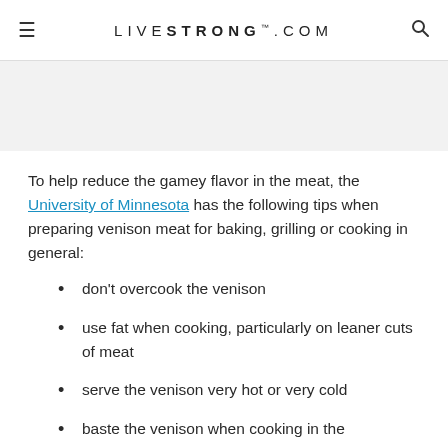LIVESTRONG.COM
To help reduce the gamey flavor in the meat, the University of Minnesota has the following tips when preparing venison meat for baking, grilling or cooking in general:
don't overcook the venison
use fat when cooking, particularly on leaner cuts of meat
serve the venison very hot or very cold
baste the venison when cooking in the